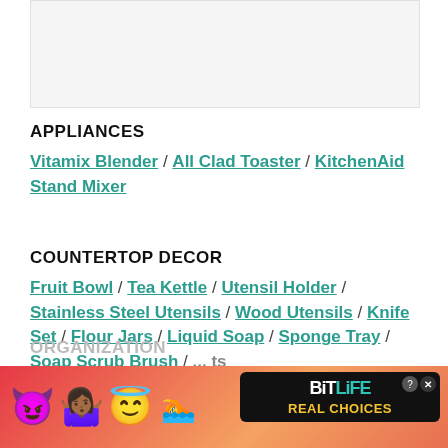[Figure (other): Placeholder/image area at top of page, light gray background]
APPLIANCES
Vitamix Blender / All Clad Toaster / KitchenAid Stand Mixer
COUNTERTOP DECOR
Fruit Bowl / Tea Kettle / Utensil Holder / Stainless Steel Utensils / Wood Utensils / Knife Set / Flour Jars / Liquid Soap / Sponge Tray / Soap Scrub Brush / ... ts
ORGANIZATION
[Figure (other): BitLife - Real Choices advertisement banner with emoji characters (devil, person, angel, sperm), red/orange background, black logo panel]